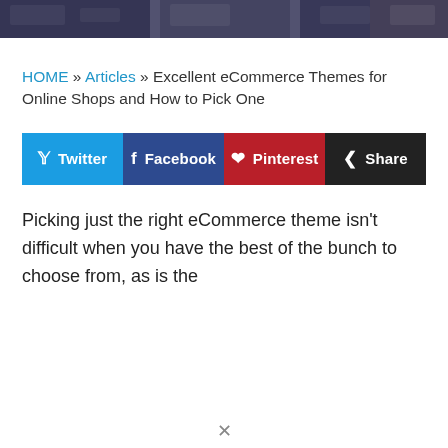[Figure (photo): Header image showing a dark-toned banner with blurred ecommerce or shopping related imagery]
HOME » Articles » Excellent eCommerce Themes for Online Shops and How to Pick One
[Figure (infographic): Social share buttons row: Twitter (blue), Facebook (dark blue), Pinterest (red), Share (black)]
Picking just the right eCommerce theme isn't difficult when you have the best of the bunch to choose from, as is the